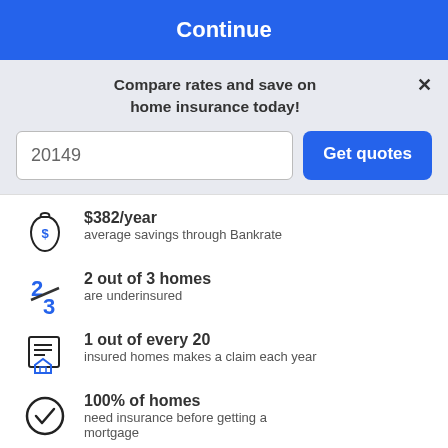Continue
Compare rates and save on home insurance today!
20149
Get quotes
$382/year – average savings through Bankrate
2 out of 3 homes are underinsured
1 out of every 20 insured homes makes a claim each year
100% of homes need insurance before getting a mortgage